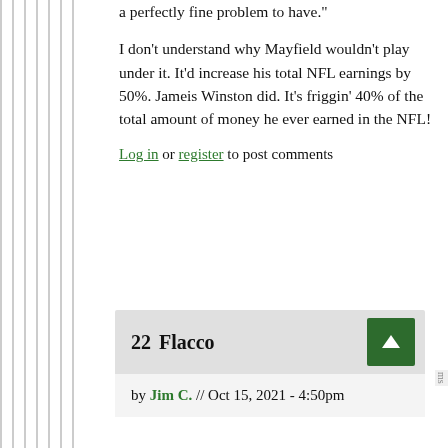a perfectly fine problem to have."
I don't understand why Mayfield wouldn't play under it. It'd increase his total NFL earnings by 50%. Jameis Winston did. It's friggin' 40% of the total amount of money he ever earned in the NFL!
Log in or register to post comments
22  Flacco
by Jim C. // Oct 15, 2021 - 4:50pm